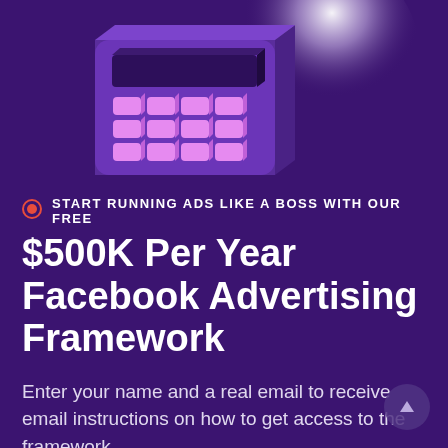[Figure (illustration): Isometric illustration of a purple calculator with pink keys and a glowing white orb/circle behind it, on a dark purple background]
START RUNNING ADS LIKE A BOSS WITH OUR FREE
$500K Per Year Facebook Advertising Framework
Enter your name and a real email to receive email instructions on how to get access to the framework.